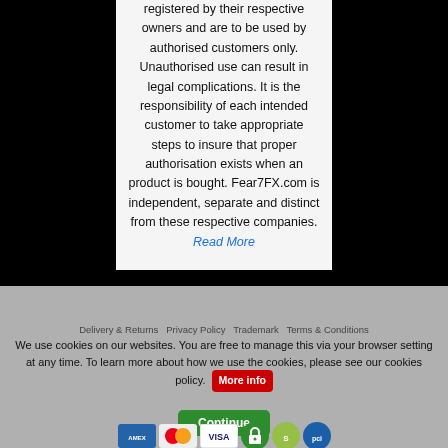registered by their respective owners and are to be used by authorised customers only. Unauthorised use can result in legal complications. It is the responsibility of each intended customer to take appropriate steps to insure that proper authorisation exists when an product is bought. Fear7FX.com is independent, separate and distinct from these respective companies. Read More
[Figure (other): Facebook social media icon (white 'f' logo)]
Delivery & Returns   Privacy Policy   Trademark   Terms & Conditions
We use cookies on our websites. You are free to manage this via your browser setting at any time. To learn more about how we use the cookies, please see our cookies policy.
More info
Continue
[Figure (other): Payment method icons: Amex, Mastercard, Visa, and trust badge icons for secure checkout, Shopify, and PCI compliance]